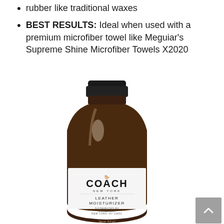rubber like traditional waxes
BEST RESULTS: Ideal when used with a premium microfiber towel like Meguiar's Supreme Shine Microfiber Towels X2020
[Figure (photo): A dark amber glass bottle with black cap labeled 'COACH NEW YORK LEATHER MOISTURIZER, Distributed by Coach Inc., New York, NY 10001']